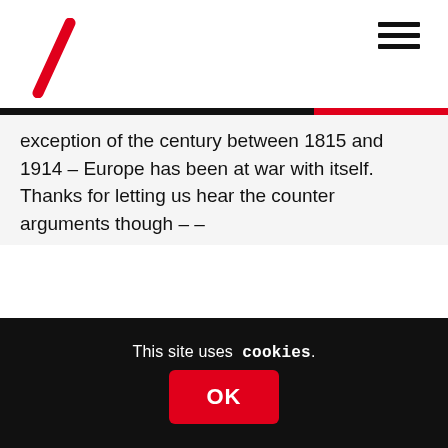[Figure (logo): Red diagonal slash logo in top left corner]
[Figure (other): Hamburger menu icon (three horizontal bars) in top right corner]
exception of the century between 1815 and 1914 – Europe has been at war with itself. Thanks for letting us hear the counter arguments though – –
Alex Mitchell
1st March 2016 at 9:58 pm
You seem to have forgotten the Franco-Prussian war and other “local” incidents.
This site uses cookies.
OK